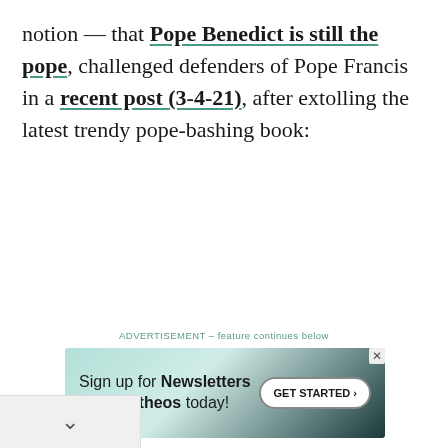notion — that Pope Benedict is still the pope, challenged defenders of Pope Francis in a recent post (3-4-21), after extolling the latest trendy pope-bashing book:
ADVERTISEMENT – feature continues below
[Figure (other): Advertisement banner for Patheos newsletters. Teal gradient background with text 'Sign up for Newsletters from Patheos today!' and a GET STARTED button.]